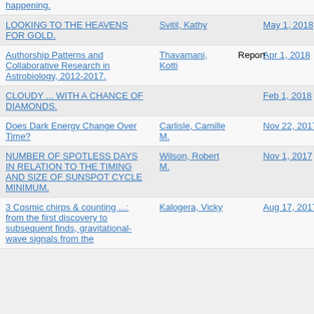| Title | Author | Type | Date |
| --- | --- | --- | --- |
| happening. |  |  |  |
| LOOKING TO THE HEAVENS FOR GOLD. | Svitil, Kathy |  | May 1, 2018 |
| Authorship Patterns and Collaborative Research in Astrobiology, 2012-2017. | Thavamani, Kotti | Report | Apr 1, 2018 |
| CLOUDY ... WITH A CHANCE OF DIAMONDS. |  |  | Feb 1, 2018 |
| Does Dark Energy Change Over Time? | Carlisle, Camille M. |  | Nov 22, 2017 |
| NUMBER OF SPOTLESS DAYS IN RELATION TO THE TIMING AND SIZE OF SUNSPOT CYCLE MINIMUM. | Wilson, Robert M. |  | Nov 1, 2017 |
| 3 Cosmic chirps & counting ...: from the first discovery to subsequent finds, gravitational-wave signals from the | Kalogera, Vicky |  | Aug 17, 2017 |